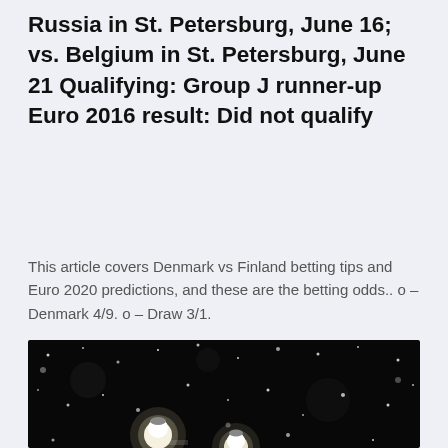Russia in St. Petersburg, June 16; vs. Belgium in St. Petersburg, June 21 Qualifying: Group J runner-up Euro 2016 result: Did not qualify
This article covers Denmark vs Finland betting tips and Euro 2020 predictions, and these are the betting odds.. o – Denmark 4/9. o – Draw 3/1.
[Figure (photo): Nighttime photo of street lamp posts glowing brightly against a dark sky with snow falling, creating a bokeh effect with white snow dots scattered across the dark background.]